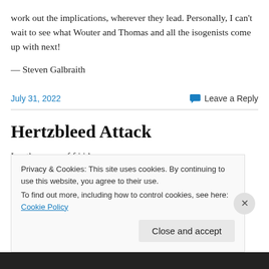work out the implications, wherever they lead. Personally, I can't wait to see what Wouter and Thomas and all the isogenists come up with next!
— Steven Galbraith
July 31, 2022
Leave a Reply
Hertzbleed Attack
Privacy & Cookies: This site uses cookies. By continuing to use this website, you agree to their use. To find out more, including how to control cookies, see here: Cookie Policy
Close and accept